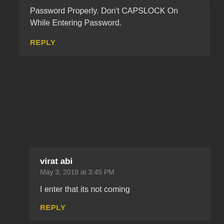Password Properly. Don't CAPSLOCK On While Entering Password.
REPLY
virat abi
May 3, 2018 at 3:45 PM
I enter that its not coming
REPLY
virat abi
May 3, 2018 at 3:46 PM
reply me
REPLY